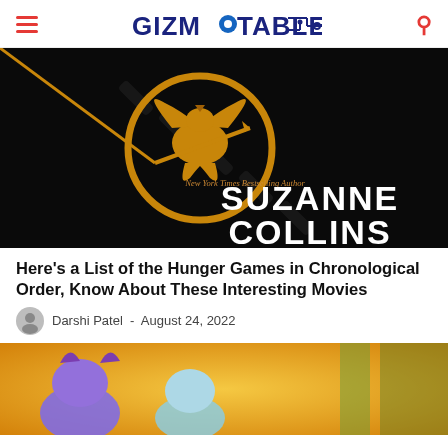GIZMOTABLE
[Figure (photo): Hunger Games Mockingjay book cover on black background with golden bird symbol and 'New York Times Bestselling Author SUZANNE COLLINS' text]
Here’s a List of the Hunger Games in Chronological Order, Know About These Interesting Movies
Darshi Patel - August 24, 2022
[Figure (photo): Partial image showing colorful character costumes, warm golden/yellow background with purple creature visible]